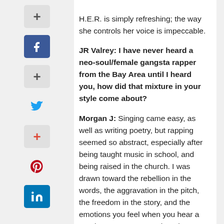H.E.R. is simply refreshing; the way she controls her voice is impeccable.
JR Valrey: I have never heard a neo-soul/female gangsta rapper from the Bay Area until I heard you, how did that mixture in your style come about?
Morgan J: Singing came easy, as well as writing poetry, but rapping seemed so abstract, especially after being taught music in school, and being raised in the church. I was drawn toward the rebellion in the words, the aggravation in the pitch, the freedom in the story, and the emotions you feel when you hear a good rap song. I never thought I would incorporate rap into my music like I have, but sometimes those cadences come quicker than the singing. Lauryn Hill does it, Beyonce, Jill Scott, even Erykah, but like th—